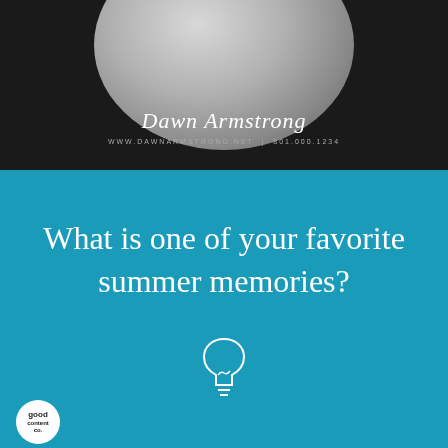[Figure (photo): Dark background with a partial moon shape at top, and a cursive signature reading 'Dawn Armstrong' with website text below]
What is one of your favorite summer memories?
[Figure (illustration): Light bulb icon outline in white]
[Figure (logo): Circular white badge logo with text 'good' in bold]